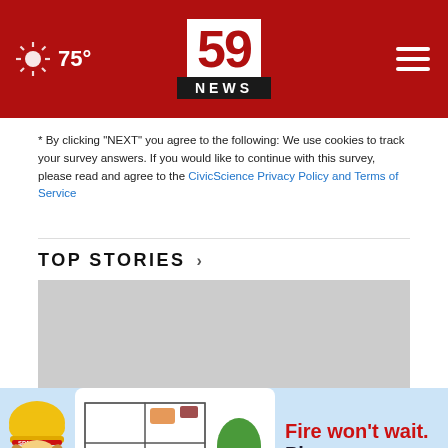59 NEWS | 75°
* By clicking "NEXT" you agree to the following: We use cookies to track your survey answers. If you would like to continue with this survey, please read and agree to the CivicScience Privacy Policy and Terms of Service
TOP STORIES ›
[Figure (photo): Gray placeholder image area for top story]
[Figure (infographic): Fire escape plan advertisement showing a cartoon dog mascot (Sparky), a house floor plan with escape routes marked, a tree, and text reading 'Fire won't wait. Plan your esca...']